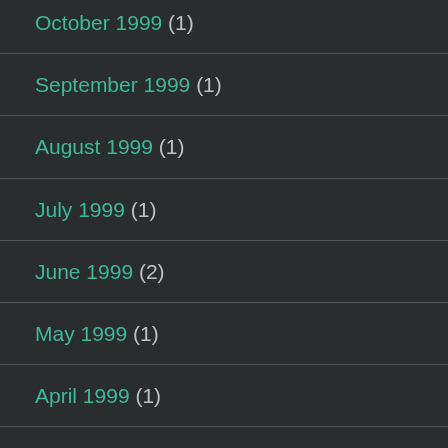October 1999 (1)
September 1999 (1)
August 1999 (1)
July 1999 (1)
June 1999 (2)
May 1999 (1)
April 1999 (1)
March 1999 (1)
February 1999 (1)